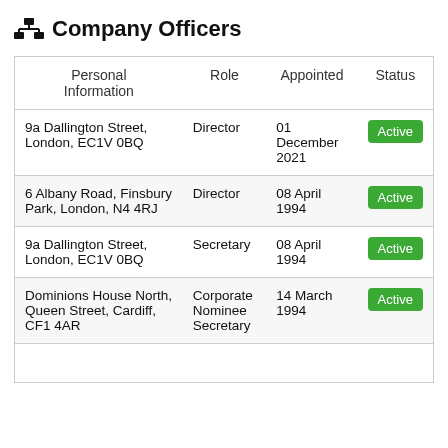Company Officers
| Personal Information | Role | Appointed | Status |
| --- | --- | --- | --- |
| 9a Dallington Street, London, EC1V 0BQ | Director | 01 December 2021 | Active |
| 6 Albany Road, Finsbury Park, London, N4 4RJ | Director | 08 April 1994 | Active |
| 9a Dallington Street, London, EC1V 0BQ | Secretary | 08 April 1994 | Active |
| Dominions House North, Queen Street, Cardiff, CF1 4AR | Corporate Nominee Secretary | 14 March 1994 | Active |
|  |  |  |  |